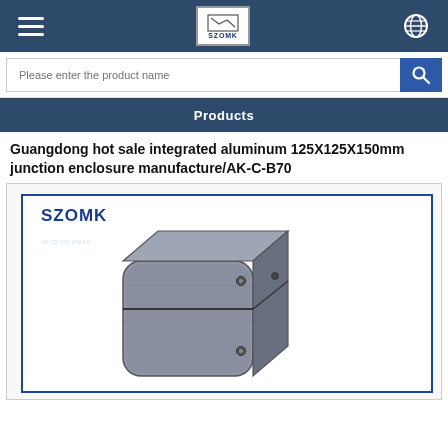SZOMK
Please enter the product name
Products
Guangdong hot sale integrated aluminum 125X125X150mm junction enclosure manufacture/AK-C-B70
[Figure (photo): Photo of a gray aluminum junction enclosure box, with rounded corners, showing front and side faces. The SZOMK brand logo is displayed in the upper left of the image frame with a blue border.]